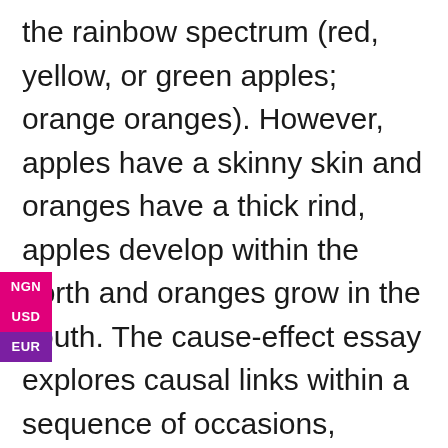the rainbow spectrum (red, yellow, or green apples; orange oranges). However, apples have a skinny skin and oranges have a thick rind, apples develop within the north and oranges grow in the south. The cause-effect essay explores causal links within a sequence of occasions, developments, or circumstances. To get them excited about cause-effect relationships, place college students in small teams and instruct them to .
[Figure (infographic): Currency selection widget showing three buttons stacked vertically: NGN (pink/magenta), USD (pink/magenta), EUR (purple), positioned on the left edge of the page overlapping the text.]